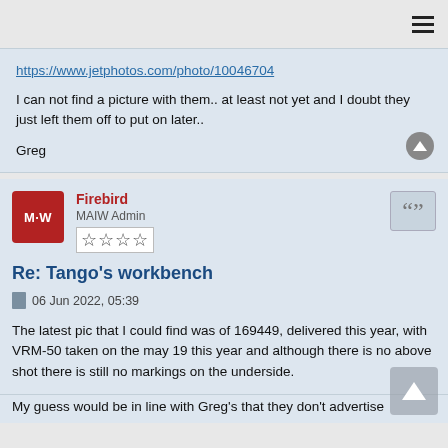https://www.jetphotos.com/photo/10046704
I can not find a picture with them.. at least not yet and I doubt they just left them off to put on later..
Greg
Firebird
MAIW Admin
Re: Tango's workbench
06 Jun 2022, 05:39
The latest pic that I could find was of 169449, delivered this year, with VRM-50 taken on the may 19 this year and although there is no above shot there is still no markings on the underside.
My guess would be in line with Greg's that they don't advertise